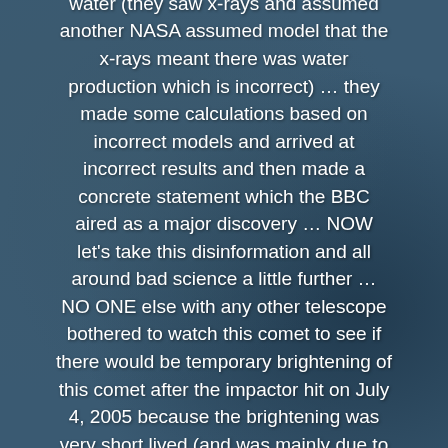nucleus) of about two and one half times over the quiescent (average) level" ... so you see ... no one saw any water (they saw x-rays and assumed another NASA assumed model that the x-rays meant there was water production which is incorrect) ... they made some calculations based on incorrect models and arrived at incorrect results and then made a concrete statement which the BBC aired as a major discovery ... NOW let's take this disinformation and all around bad science a little further ... NO ONE else with any other telescope bothered to watch this comet to see if there would be temporary brightening of this comet after the impactor hit on July 4, 2005 because the brightening was very short lived (and was mainly due to dust ... not water) ... so to imagine that somehow 13 days later all of a sudden this hot dry